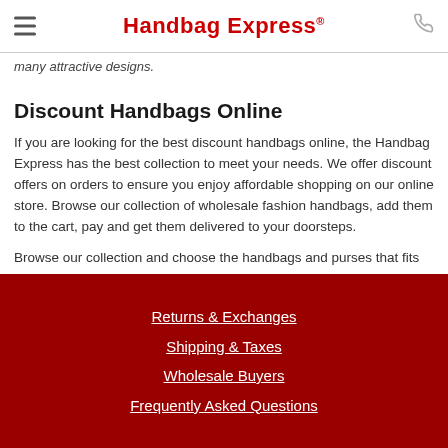Handbag Express®
many attractive designs.
Discount Handbags Online
If you are looking for the best discount handbags online, the Handbag Express has the best collection to meet your needs. We offer discount offers on orders to ensure you enjoy affordable shopping on our online store. Browse our collection of wholesale fashion handbags, add them to the cart, pay and get them delivered to your doorsteps.
Browse our collection and choose the handbags and purses that fits your needs perfectly.
Returns & Exchanges
Shipping & Taxes
Wholesale Buyers
Frequently Asked Questions